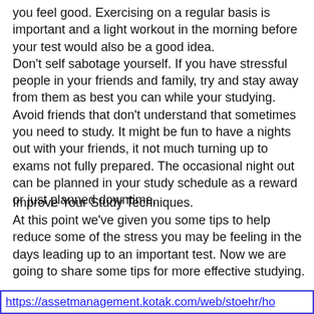you feel good. Exercising on a regular basis is important and a light workout in the morning before your test would also be a good idea. Don't self sabotage yourself. If you have stressful people in your friends and family, try and stay away from them as best you can while your studying. Avoid friends that don't understand that sometimes you need to study. It might be fun to have a nights out with your friends, it not much turning up to exams not fully prepared. The occasional night out can be planned in your study schedule as a reward or just planned downtime.
Improve Your Study Techniques.
At this point we've given you some tips to help reduce some of the stress you may be feeling in the days leading up to an important test. Now we are going to share some tips for more effective studying.
https://assetmanagement.kotak.com/web/stoehr/ho